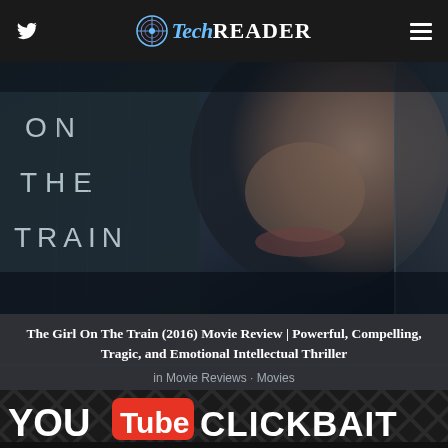TechReader — navigation bar with Twitter icon and hamburger menu
[Figure (photo): Movie poster for 'Girl On The Train' — dark atmospheric image showing a woman's face partially visible behind a train window, with the words ON THE TRAIN overlaid on the left side]
The Girl On The Train (2016) Movie Review | Powerful, Compelling, Tragic, and Emotional Intellectual Thriller
in Movie Reviews • Movies
[Figure (screenshot): YouTube Clickbait Finally Defeated? thumbnail image with dark lattice background, YouTube logo style badge showing 'Tube' in red, and large white bold text reading 'You Tube CLICKBAIT FINALLY DEFEATED?']